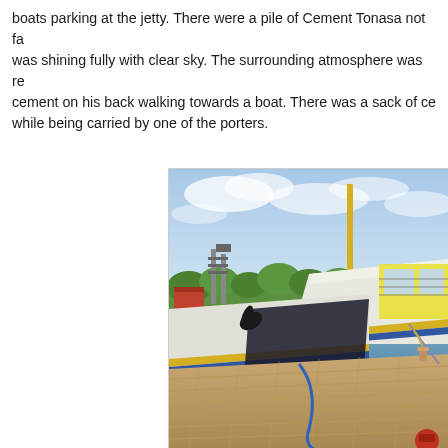boats parking at the jetty. There were a pile of Cement Tonasa not fa... was shining fully with clear sky. The surrounding atmosphere was re... cement on his back walking towards a boat. There was a sack of ce... while being carried by one of the porters.
[Figure (illustration): A colored pencil or watercolor illustration of boats docked at a jetty. The foreground shows a wooden dock/jetty with a blue rope. Two boats are visible — one with a yellow and blue stripe hull in the lower center, and a larger white and yellow boat on the right. The background shows green trees, industrial structures/towers, a vehicle, and a partly cloudy blue sky.]